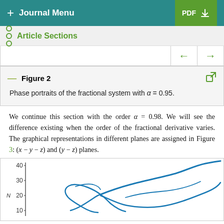+ Journal Menu  PDF
Article Sections
Figure 2
Phase portraits of the fractional system with α = 0.95.
We continue this section with the order α = 0.98. We will see the difference existing when the order of the fractional derivative varies. The graphical representations in different planes are assigned in Figure 3: (x − y − z) and (y − z) planes.
[Figure (continuous-plot): Phase portrait plot of fractional system showing curved trajectories in the N vs x plane. Y-axis labeled N with values 10, 20, 30, 40. Blue curved lines showing attractor behavior.]